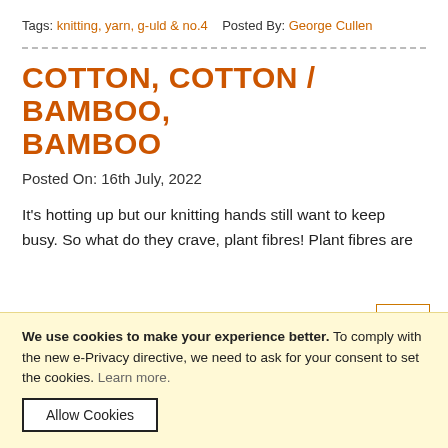Tags: knitting, yarn, g-uld & no.4   Posted By: George Cullen
COTTON, COTTON / BAMBOO, BAMBOO
Posted On: 16th July, 2022
It's hotting up but our knitting hands still want to keep busy. So what do they crave, plant fibres! Plant fibres are
We use cookies to make your experience better. To comply with the new e-Privacy directive, we need to ask for your consent to set the cookies. Learn more.
Allow Cookies